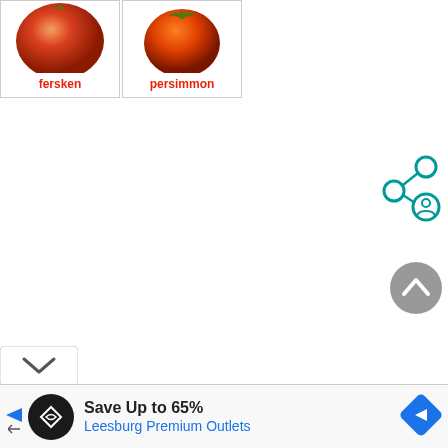[Figure (photo): Two fruit images in cards: a peach labeled 'fersken' and a persimmon labeled 'persimmon']
[Figure (illustration): Share/social icon in teal color showing connected nodes and a user profile circle]
[Figure (illustration): Gray circular scroll-to-top button with upward chevron arrow]
[Figure (illustration): White rounded collapse button with downward chevron]
[Figure (screenshot): Advertisement bar: black circle logo with diamond/infinity symbol, text 'Save Up to 65%' and 'Leesburg Premium Outlets' in blue, blue diamond navigation icon on right, and small back/forward arrow icons on left]